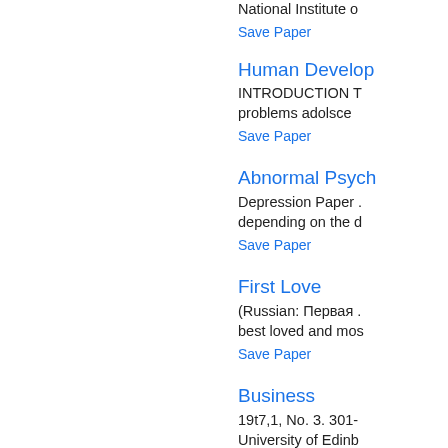National Institute o
Save Paper
Human Develop
INTRODUCTION T problems adolsce
Save Paper
Abnormal Psych
Depression Paper depending on the d
Save Paper
First Love
(Russian: Первая . best loved and mos
Save Paper
Business
19t7,1, No. 3. 301- University of Edinb
Save Paper
Psy 280 Develo